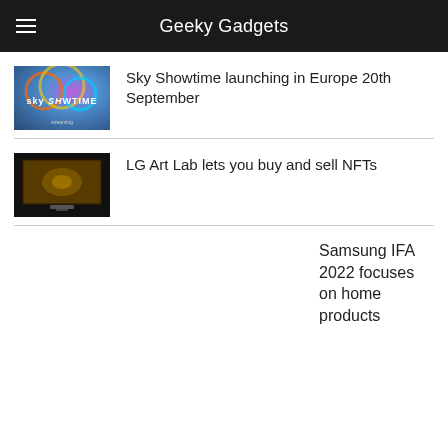Geeky Gadgets
[Figure (photo): Sky Showtime colorful logo thumbnail]
Sky Showtime launching in Europe 20th September
[Figure (photo): LG TV displaying art/NFT image thumbnail]
LG Art Lab lets you buy and sell NFTs
Samsung IFA 2022 focuses on home products